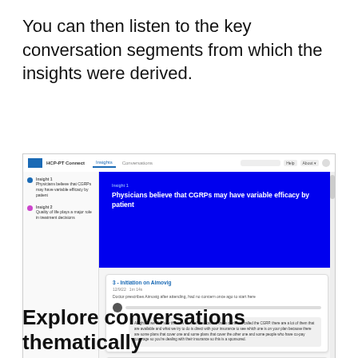You can then listen to the key conversation segments from which the insights were derived.
[Figure (screenshot): Screenshot of a medical insights application showing a blue panel with 'Insight 1: Physicians believe that CGRPs may have variable efficacy by patient' and conversation cards below including '3 - Initiation on Aimovig' with an audio playback bar and text transcript, and '2 - Switch Emgality to Ajovy' below.]
Explore conversations thematically